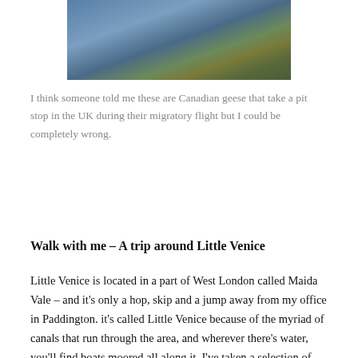[Figure (photo): Close-up photo of water (canal) with a stone or grassy bank edge, showing bluish water and some green vegetation and leaves]
I think someone told me these are Canadian geese that take a pit stop in the UK during their migratory flight but I could be completely wrong.
Walk with me – A trip around Little Venice
Little Venice is located in a part of West London called Maida Vale – and it's only a hop, skip and a jump away from my office in Paddington. it's called Little Venice because of the myriad of canals that run through the area, and wherever there's water, you'll find boats moored all along it. I've taken a selection of pictures of the surrounding area during my walk today. Hope you like